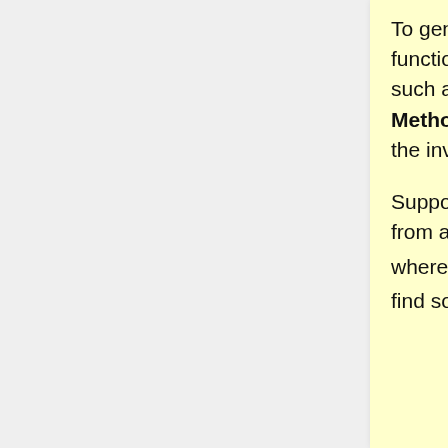To generate random samples for these functions, we will use different methods, such as the Acceptance-Rejection Method. This method is more efficient than the inverse transform method.
Suppose we want to draw random sample from a target density function f(x), x∈S_x, where S_x is the support of f(x). If we can find some